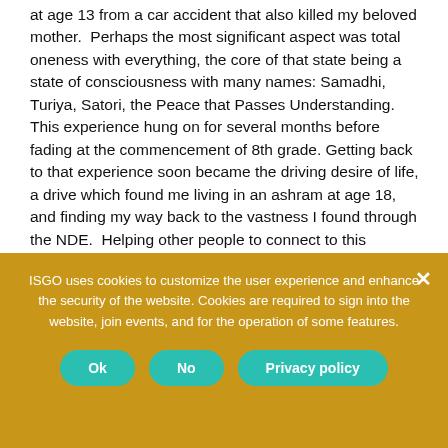at age 13 from a car accident that also killed my beloved mother.  Perhaps the most significant aspect was total oneness with everything, the core of that state being a state of consciousness with many names: Samadhi, Turiya, Satori, the Peace that Passes Understanding. This experience hung on for several months before fading at the commencement of 8th grade. Getting back to that experience soon became the driving desire of life, a drive which found me living in an ashram at age 18, and finding my way back to the vastness I found through the NDE.  Helping other people to connect to this vastness (without the hassle of an NDE!) is a large part of my own life purpose.
Ishtar can be found here:
ISGO uses cookies to customize the user experience and enhance the security of the website. Cookies are required to sign into the website, join events, and for the operation of some features.